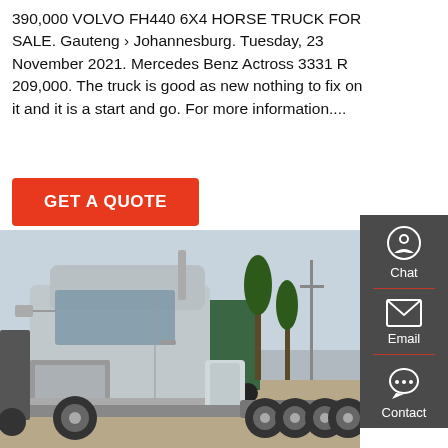390,000 VOLVO FH440 6X4 HORSE TRUCK FOR SALE. Gauteng › Johannesburg. Tuesday, 23 November 2021. Mercedes Benz Actross 3331 R 209,000. The truck is good as new nothing to fix on it and it is a start and go. For more information....
[Figure (other): Red 'GET A QUOTE' button]
[Figure (other): Dark sidebar with Chat, Email, Contact icons]
[Figure (photo): Photo of a silver Volvo FH440 6x4 horse truck (tractor unit) parked in a lot with other trucks and trees in the background]